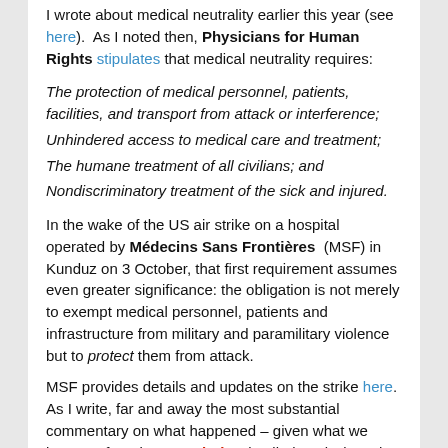I wrote about medical neutrality earlier this year (see here). As I noted then, Physicians for Human Rights stipulates that medical neutrality requires:
The protection of medical personnel, patients, facilities, and transport from attack or interference;
Unhindered access to medical care and treatment;
The humane treatment of all civilians; and
Nondiscriminatory treatment of the sick and injured.
In the wake of the US air strike on a hospital operated by Médecins Sans Frontières (MSF) in Kunduz on 3 October, that first requirement assumes even greater significance: the obligation is not merely to exempt medical personnel, patients and infrastructure from military and paramilitary violence but to protect them from attack.
MSF provides details and updates on the strike here. As I write, far and away the most substantial commentary on what happened – given what we know so far – is Kate Clark's detailed analysis at the Afghan Analysts